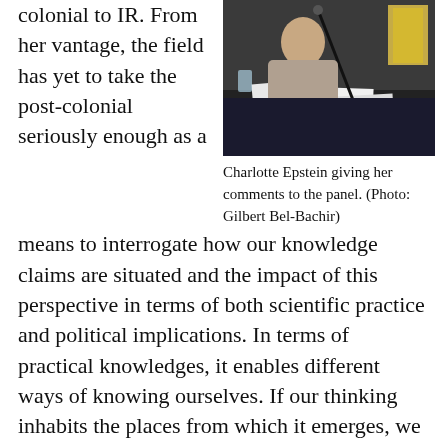colonial to IR. From her vantage, the field has yet to take the post-colonial seriously enough as a
[Figure (photo): Charlotte Epstein sitting at a panel table with a microphone, papers and books visible on the table.]
Charlotte Epstein giving her comments to the panel. (Photo: Gilbert Bel-Bachir)
means to interrogate how our knowledge claims are situated and the impact of this perspective in terms of both scientific practice and political implications. In terms of practical knowledges, it enables different ways of knowing ourselves. If our thinking inhabits the places from which it emerges, we necessarily must think differently about taken-for-granted categories of space and time, with time less the passage of presents to a